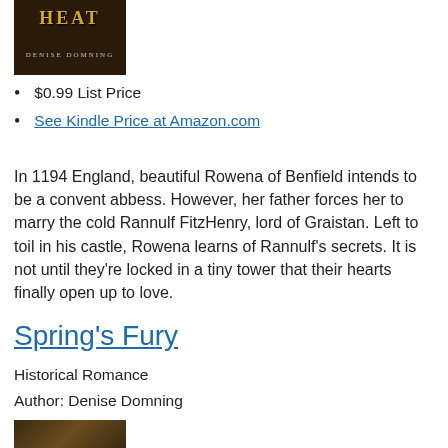[Figure (illustration): Book cover for 'Heat' by Denise Domning, dark background with decorative styling, author name at bottom]
$0.99 List Price
See Kindle Price at Amazon.com
In 1194 England, beautiful Rowena of Benfield intends to be a convent abbess. However, her father forces her to marry the cold Rannulf FitzHenry, lord of Graistan. Left to toil in his castle, Rowena learns of Rannulf’s secrets. It is not until they’re locked in a tiny tower that their hearts finally open up to love.
Spring’s Fury
Historical Romance
Author: Denise Domning
[Figure (illustration): Book cover for Spring's Fury, partially visible at bottom of page]